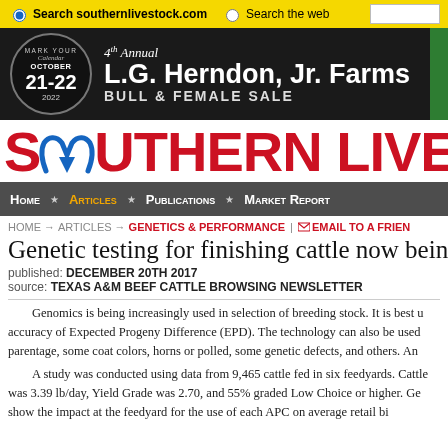Search southernlivestock.com | Search the web
[Figure (other): Banner advertisement for 4th Annual L.G. Herndon, Jr. Farms Bull & Female Sale, October 21-22, 2022]
SOUTHERN LIVESTOCK
Home | Articles | Publications | Market Report
HOME → ARTICLES → GENETICS & PERFORMANCE | EMAIL TO A FRIEND
Genetic testing for finishing cattle now being
published: DECEMBER 20TH 2017
source: TEXAS A&M BEEF CATTLE BROWSING NEWSLETTER
Genomics is being increasingly used in selection of breeding stock. It is best used to improve accuracy of Expected Progeny Difference (EPD). The technology can also be used to determine parentage, some coat colors, horns or polled, some genetic defects, and others. An
A study was conducted using data from 9,465 cattle fed in six feedyards. Cattle was 3.39 lb/day, Yield Grade was 2.70, and 55% graded Low Choice or higher. Ge show the impact at the feedyard for the use of each APC on average retail bi